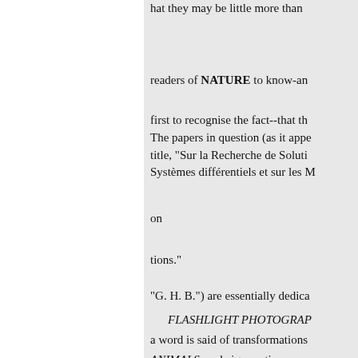that they may be little more than
readers of NATURE to know-an
first to recognise the fact--that th The papers in question (as it appe title, "Sur la Recherche de Soluti Systèmes différentiels et sur les M
on
tions."
"G. H. B.") are essentially dedica
FLASHLIGHT PHOTOGRAP
a word is said of transformations
ANIMALS. and aign oratione c known work preface, because thi
und " ( and studying the stationar
T. Levi-CIVITA. we believe, a